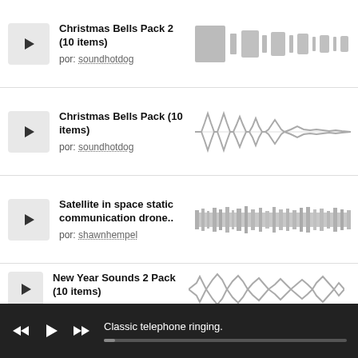[Figure (screenshot): Audio track listing app showing sound packs with play buttons and waveform previews]
Christmas Bells Pack 2 (10 items) por: soundhotdog
Christmas Bells Pack (10 items) por: soundhotdog
Satellite in space static communication drone.. por: shawnhempel
New Year Sounds 2 Pack (10 items)
Classic telephone ringing.